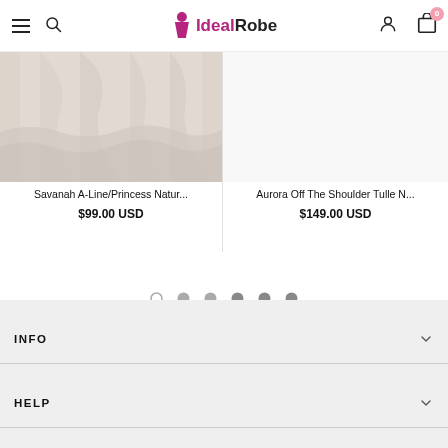IdealRobe - navigation header with hamburger menu, search, logo, user account, and cart (0 items)
[Figure (photo): Partial product image of a light pink/beige dress (Savanah A-Line/Princess) — top portion cropped]
Savanah A-Line/Princess Natur...
$99.00 USD
[Figure (photo): Empty/white area for Aurora Off The Shoulder Tulle N... product image]
Aurora Off The Shoulder Tulle N...
$149.00 USD
[Figure (other): Pagination dots: 1 empty circle followed by 5 filled gray circles]
[Figure (other): Floating action buttons: external link icon and up arrow icon]
INFO
HELP